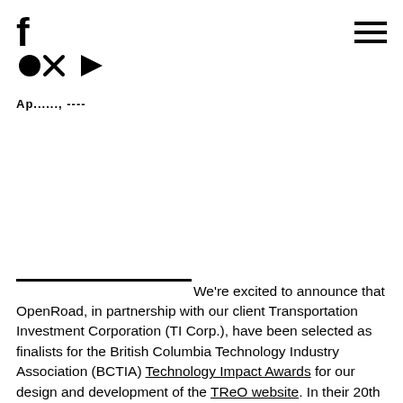f ● ▶ ≡ (foxd logo with hamburger menu)
Ap......, ----
We're excited to announce that OpenRoad, in partnership with our client Transportation Investment Corporation (TI Corp.), have been selected as finalists for the British Columbia Technology Industry Association (BCTIA) Technology Impact Awards for our design and development of the TReO website. In their 20th year, the BCTIA awards recognize companies and people who foster innovation and growth in the BC technology sector. Each year, the BC tech community celebrates the achievements of nine winners across the categories of technology innovation, company achievement, and personal